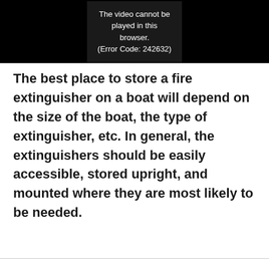[Figure (screenshot): Video player showing error message: 'The video cannot be played in this browser. (Error Code: 242632)']
The best place to store a fire extinguisher on a boat will depend on the size of the boat, the type of extinguisher, etc. In general, the extinguishers should be easily accessible, stored upright, and mounted where they are most likely to be needed.